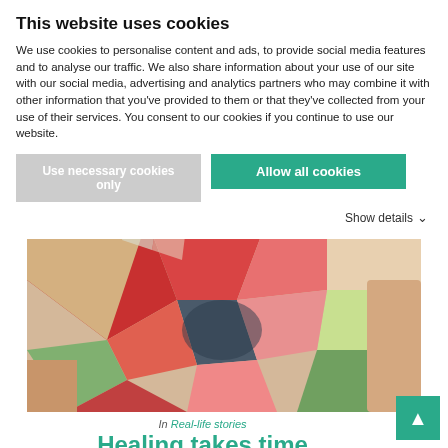This website uses cookies
We use cookies to personalise content and ads, to provide social media features and to analyse our traffic. We also share information about your use of our site with our social media, advertising and analytics partners who may combine it with other information that you've provided to them or that they've collected from your use of their services. You consent to our cookies if you continue to use our website.
Use necessary cookies only
Allow all cookies
Show details
[Figure (photo): Close-up photo of colorful patchwork fabric or quilt with hands holding it, showing red, pink, green, blue-grey, and yellow-green patches]
In Real-life stories
Healing takes time